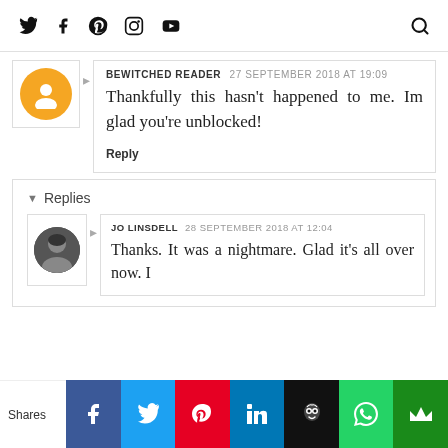Twitter Facebook Pinterest Instagram YouTube [Search]
BEWITCHED READER  27 SEPTEMBER 2018 AT 19:09
Thankfully this hasn't happened to me. Im glad you're unblocked!
Reply
▾ Replies
JO LINSDELL  28 SEPTEMBER 2018 AT 12:04
Thanks. It was a nightmare. Glad it's all over now. I
Shares  [Facebook] [Twitter] [Pinterest] [LinkedIn] [Hootsuite] [WhatsApp] [Other]